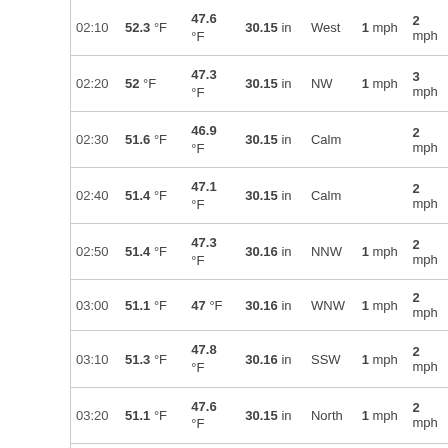| Time | Temp | Dew Point | Pressure | Wind Dir | Wind Speed | Gust |
| --- | --- | --- | --- | --- | --- | --- |
| 02:10 | 52.3 °F | 47.6 °F | 30.15 in | West | 1 mph | 2 mph |
| 02:20 | 52 °F | 47.3 °F | 30.15 in | NW | 1 mph | 3 mph |
| 02:30 | 51.6 °F | 46.9 °F | 30.15 in | Calm |  | 2 mph |
| 02:40 | 51.4 °F | 47.1 °F | 30.15 in | Calm |  | 2 mph |
| 02:50 | 51.4 °F | 47.3 °F | 30.16 in | NNW | 1 mph | 2 mph |
| 03:00 | 51.1 °F | 47 °F | 30.16 in | WNW | 1 mph | 2 mph |
| 03:10 | 51.3 °F | 47.8 °F | 30.16 in | SSW | 1 mph | 2 mph |
| 03:20 | 51.1 °F | 47.6 °F | 30.15 in | North | 1 mph | 2 mph |
| 03:30 | 51.2 °F | 48 °F | 30.15 in | Calm |  | 2 mph |